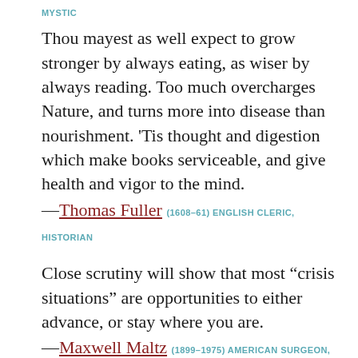MYSTIC
Thou mayest as well expect to grow stronger by always eating, as wiser by always reading. Too much overcharges Nature, and turns more into disease than nourishment. 'Tis thought and digestion which make books serviceable, and give health and vigor to the mind.
—Thomas Fuller (1608–61) ENGLISH CLERIC, HISTORIAN
Close scrutiny will show that most “crisis situations” are opportunities to either advance, or stay where you are.
—Maxwell Maltz (1899–1975) AMERICAN SURGEON, MOTIVATIONAL WRITER